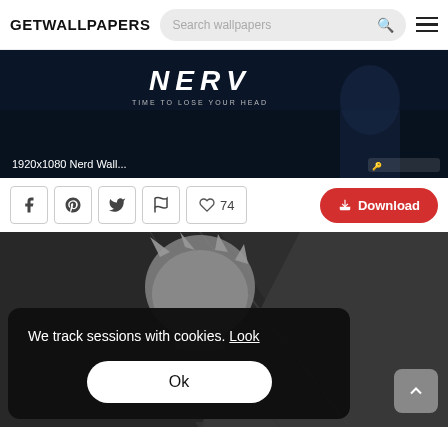GETWALLPAPERS
[Figure (screenshot): Wallpaper preview: dark background with NERV anime text 'TIME TO LOSE YOUR HEAD' and character illustration. Caption reads '1920x1080 Nerd Wall...' with a logo badge.]
1920x1080 Nerd Wall...
Download | 74 likes
[Figure (screenshot): Second wallpaper preview: dark grey geometric background with a grey cartoon figure. Overlaid cookie consent popup: 'We track sessions with cookies. Look' and an 'Ok' button.]
We track sessions with cookies. Look
Ok